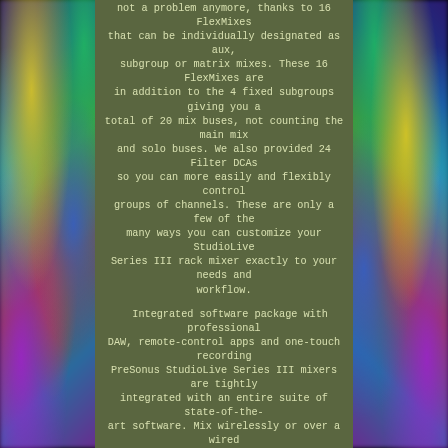not a problem anymore, thanks to 16 FlexMixes that can be individually designated as aux, subgroup or matrix mixes. These 16 FlexMixes are in addition to the 4 fixed subgroups giving you a total of 20 mix buses, not counting the main mix and solo buses. We also provided 24 Filter DCAs so you can more easily and flexibly control groups of channels. These are only a few of the many ways you can customize your StudioLive Series III rack mixer exactly to your needs and workflow.
Integrated software package with professional DAW, remote-control apps and one-touch recording PreSonus StudioLive Series III mixers are tightly integrated with an entire suite of state-of-the-art software. Mix wirelessly or over a wired network from anywhere using UC Surface touch-control software for Mac, Windows, Android and iPad. Remote control the mixer's recallable XMAX preamps and Fat Channel processing with Studio One Artist for low-latency recording with effects. Completely automate virtual soundchecks and record shows with Capture. Save mixer scenes with your live recordings in Capture and edit both in Studio One Artist.
StudioLive Series III mixers and software work together to form a cohesive ecosystem that helps you achieve your creative vision. Network-ready, with a choice of recording methods Networking isn't the future of professional audio systems;